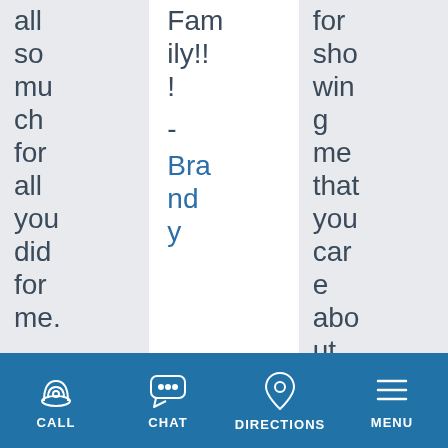all so much for all you did for me. -
Family!!! - Brandy
for showing me that you care about
CALL  CHAT  DIRECTIONS  MENU